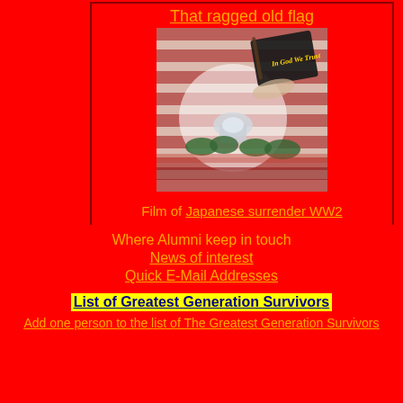That ragged old flag
[Figure (illustration): Composite image of an American flag with the US Capitol building and a Bible with yellow text 'In God We Trust']
Film of Japanese surrender WW2
2006 grad returns home from Afghanistan
Where Alumni keep in touch
News of interest
Quick E-Mail Addresses
List of Greatest Generation Survivors
Add one person to the list of The Greatest Generation Survivors